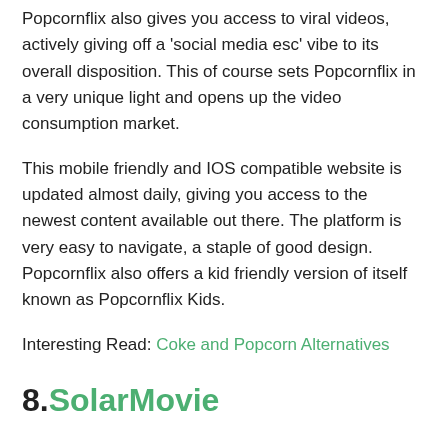Popcornflix also gives you access to viral videos, actively giving off a 'social media esc' vibe to its overall disposition. This of course sets Popcornflix in a very unique light and opens up the video consumption market.
This mobile friendly and IOS compatible website is updated almost daily, giving you access to the newest content available out there. The platform is very easy to navigate, a staple of good design. Popcornflix also offers a kid friendly version of itself known as Popcornflix Kids.
Interesting Read: Coke and Popcorn Alternatives
8. SolarMovie